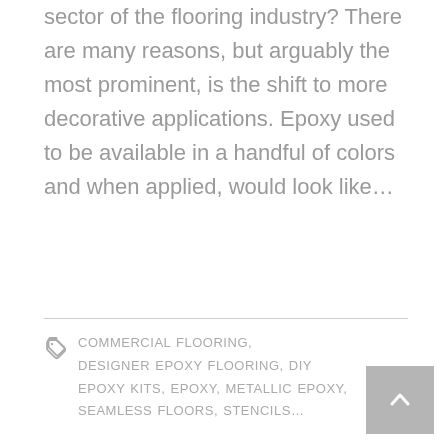sector of the flooring industry?  There are many reasons, but arguably the most prominent, is the shift to more decorative applications.  Epoxy used to be available in a handful of colors and when applied, would look like…
COMMERCIAL FLOORING, DESIGNER EPOXY FLOORING, DIY EPOXY KITS, EPOXY, METALLIC EPOXY, SEAMLESS FLOORS, STENCILS…